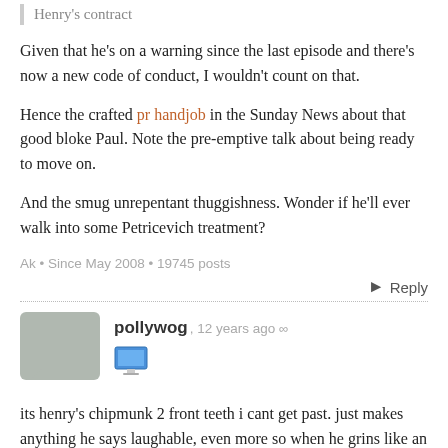Henry's contract
Given that he's on a warning since the last episode and there's now a new code of conduct, I wouldn't count on that.
Hence the crafted pr handjob in the Sunday News about that good bloke Paul. Note the pre-emptive talk about being ready to move on.
And the smug unrepentant thuggishness. Wonder if he'll ever walk into some Petricevich treatment?
Ak • Since May 2008 • 19745 posts
Reply
pollywog, 12 years ago
its henry's chipmunk 2 front teeth i cant get past. just makes anything he says laughable, even more so when he grins like an idiot. much prefer sunrise, though not when ali ikram is on.
and screw the ratings, i'd like to see a jello